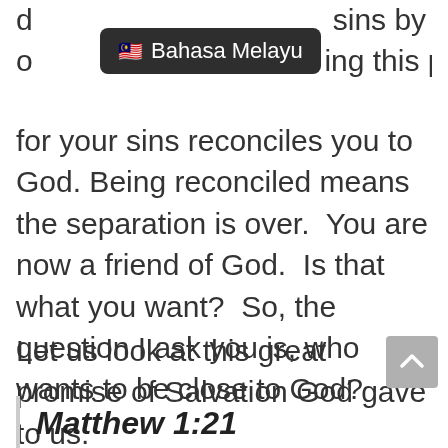[Figure (screenshot): A language dropdown UI element showing a Malaysian flag emoji and the text 'Bahasa Melayu' on a dark rounded rectangle background, overlapping the top of the page text.]
sins by his death of [obscured] ing this payment for your sins reconciles you to God. Being reconciled means the separation is over.  You are now a friend of God.  Is that what you want?  So, the question I ask you is, who wants to be close to God?
Let us look at this great promise of Salvation God gave to us.
Matthew 1:21